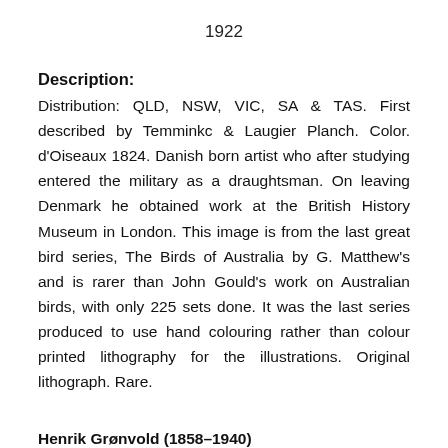1922
Description:
Distribution: QLD, NSW, VIC, SA & TAS. First described by Temminkc & Laugier Planch. Color. d'Oiseaux 1824. Danish born artist who after studying entered the military as a draughtsman. On leaving Denmark he obtained work at the British History Museum in London. This image is from the last great bird series, The Birds of Australia by G. Matthew's and is rarer than John Gould's work on Australian birds, with only 225 sets done. It was the last series produced to use hand colouring rather than colour printed lithography for the illustrations. Original lithograph. Rare.
Henrik Grønvold (1858–1940)